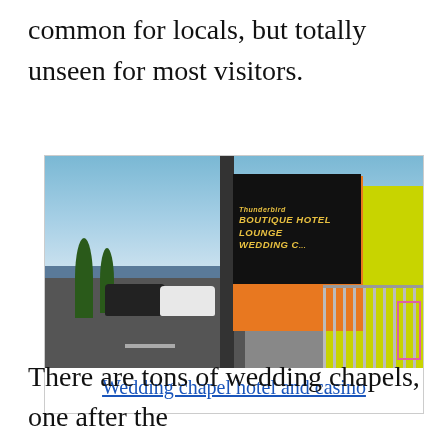common for locals, but totally unseen for most visitors.
[Figure (photo): Street-level photo of Las Vegas showing a boutique hotel casino with a sign reading 'BOUTIQUE HOTEL LOUNGE WEDDING C...' on a black sign board, orange and yellow-green building facades, palm trees, road with vehicles, and a fence with white lattice.]
Wedding chapel hotel and casino
There are tons of wedding chapels, one after the